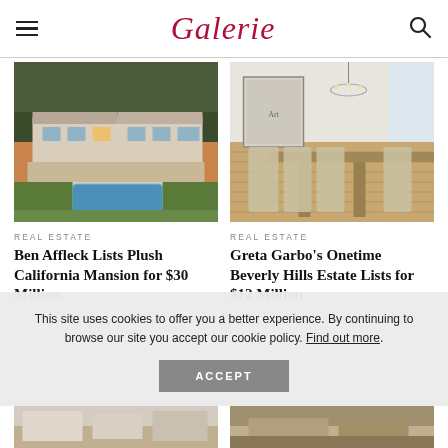Galerie
[Figure (photo): Aerial view of Ben Affleck's California mansion with pool and green lawns at sunset]
[Figure (photo): Interior dining room of Greta Garbo's Beverly Hills estate with wood floors and chandelier]
REAL ESTATE
Ben Affleck Lists Plush California Mansion for $30 Million
REAL ESTATE
Greta Garbo's Onetime Beverly Hills Estate Lists for $12 Million
This site uses cookies to offer you a better experience. By continuing to browse our site you accept our cookie policy. Find out more.
[Figure (photo): Interior thumbnail image]
[Figure (photo): Aerial view thumbnail image]